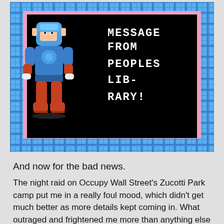[Figure (screenshot): A retro 8-bit style video game screenshot showing a robot character (Mega Man) in a blue suit with red accents standing on the left side. On the right side, white pixel text reads 'MESSAGE FROM PEOPLES LIB- RARY!' on a black background. The scene is bordered by blue pixel/tile patterns with a pink inner border.]
And now for the bad news.
The night raid on Occupy Wall Street's Zucotti Park camp put me in a really foul mood, which didn't get much better as more details kept coming in. What outraged and frightened me more than anything else were reports that the NYPD tore down the famous People's Library and threw the entire 5,000 book collection into a garbage truck. I felt as though a weight had been removed from my chest when word came in that the news of the library's destruction was premature.
Unfortunately, it seems that the report of the premature